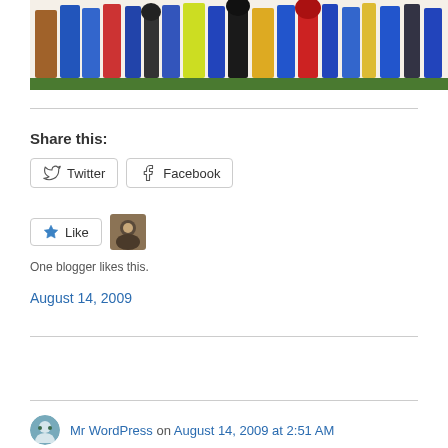[Figure (illustration): Child's painting showing colorful figures/people in blue, red, black, yellow, green brushstrokes on white background]
Share this:
Twitter   Facebook
Like   [avatar thumbnail]   One blogger likes this.
August 14, 2009
Mr WordPress on August 14, 2009 at 2:51 AM